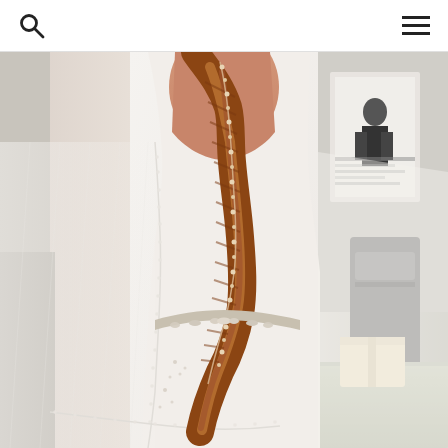Search and navigation header with search icon and hamburger menu
[Figure (photo): A bride seen from behind wearing a white strapless wedding gown with a jeweled belt/sash and pearl-edged veil. She has long auburn hair styled in a fishtail braid decorated with small pearl/floral hair vine. The background shows an outdoor or indoor venue setting with chairs and a table.]